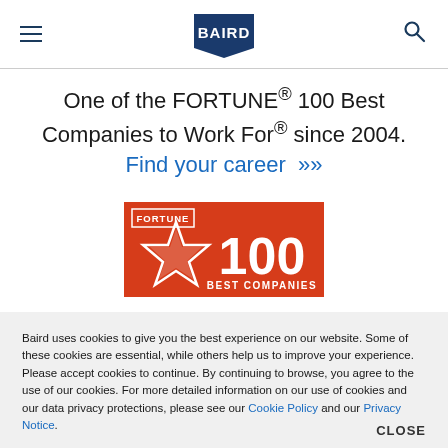BAIRD (logo navigation header with menu and search icons)
One of the FORTUNE® 100 Best Companies to Work For® since 2004. Find your career »
[Figure (logo): Fortune 100 Best Companies badge — red/orange background with star and text '100 BEST COMPANIES']
Baird uses cookies to give you the best experience on our website. Some of these cookies are essential, while others help us to improve your experience. Please accept cookies to continue. By continuing to browse, you agree to the use of our cookies. For more detailed information on our use of cookies and our data privacy protections, please see our Cookie Policy and our Privacy Notice.
CLOSE